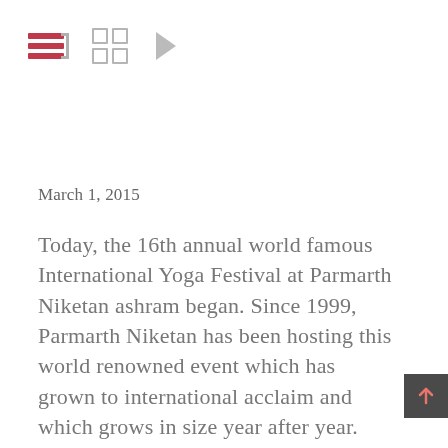[Figure (other): Toolbar with list view icon (active, red bars), grid view icon, and play button icon]
March 1, 2015
Today, the 16th annual world famous International Yoga Festival at Parmarth Niketan ashram began. Since 1999, Parmarth Niketan has been hosting this world renowned event which has grown to international acclaim and which grows in size year after year. Yogacharyas, teachers, students and seekers come from every corner of the globe to participate in this program. This year there are approximately 1000 participants from more than 55 countries. There are classes from 4:00 am until 9:30 pm with more than 60 revered saints, yogacharyas,